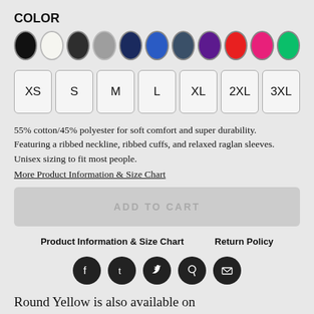COLOR
[Figure (infographic): Row of 11 color swatches: black, white, dark charcoal, gray, navy, blue, dark teal/slate, purple, red, pink/hot pink, green]
[Figure (infographic): Size selector buttons: XS, S, M, L, XL, 2XL, 3XL]
55% cotton/45% polyester for soft comfort and super durability. Featuring a ribbed neckline, ribbed cuffs, and relaxed raglan sleeves. Unisex sizing to fit most people.
More Product Information & Size Chart
ADD TO CART
Product Information & Size Chart    Return Policy
[Figure (infographic): Row of 5 social media icons: Facebook, Tumblr, Twitter, Pinterest, Email — all dark circles]
Round Yellow is also available on